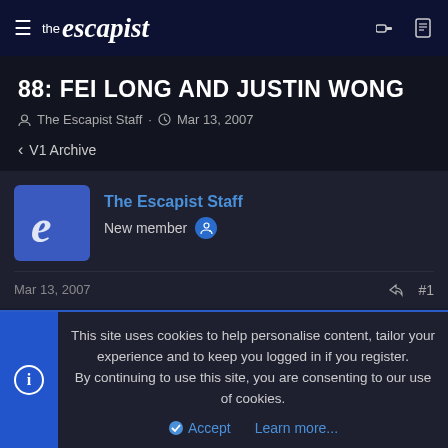the escapist
88: FEI LONG AND JUSTIN WONG
The Escapist Staff · Mar 13, 2007
< V1 Archive
The Escapist Staff
New member
Mar 13, 2007  #1
This site uses cookies to help personalise content, tailor your experience and to keep you logged in if you register.
By continuing to use this site, you are consenting to our use of cookies.
Accept   Learn more...